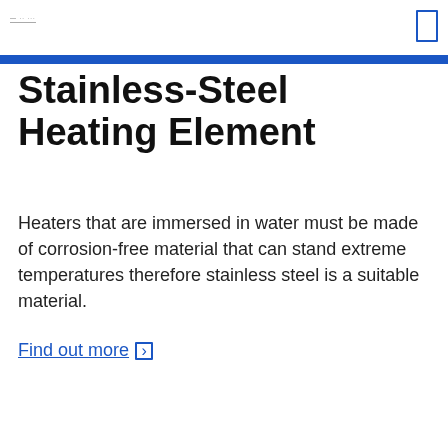Stainless-Steel Heating Element
Heaters that are immersed in water must be made of corrosion-free material that can stand extreme temperatures therefore stainless steel is a suitable material.
Find out more ❯